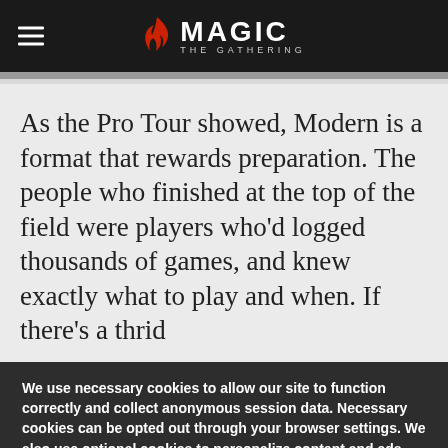Magic: The Gathering
As the Pro Tour showed, Modern is a format that rewards preparation. The people who finished at the top of the field were players who'd logged thousands of games, and knew exactly what to play and when. If there's a thrid
We use necessary cookies to allow our site to function correctly and collect anonymous session data. Necessary cookies can be opted out through your browser settings. We also use optional cookies to personalize content and ads, provide social medial features and analyze web traffic. By clicking “OK, I agree,” you consent to optional cookies. (Learn more about cookies.)